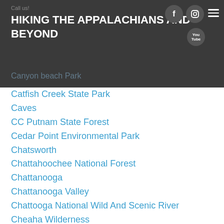HIKING THE APPALACHIANS AND BEYOND
Catfish Creek State Park
Caves
CC Putnam State Forest
Cedar Point Environmental Park
Chatsworth
Chattahoochee National Forest
Chattanooga
Chattanooga Valley
Chattooga National Wild And Scenic River
Cheaha Wilderness
Cherohala Skyway
Cherokee
Cherokee National Forest
Chiefland Area
Chillhowee Recreation Area